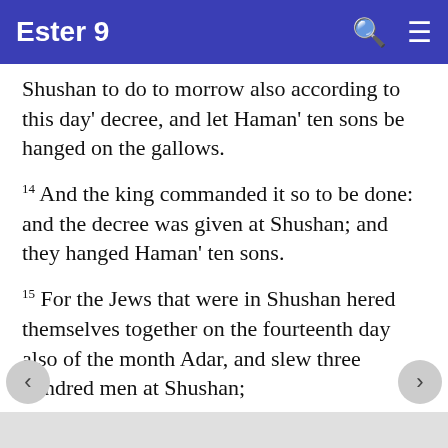Ester 9
Shushan to do to morrow also according to this day' decree, and let Haman' ten sons be hanged on the gallows.
14 And the king commanded it so to be done: and the decree was given at Shushan; and they hanged Haman' ten sons.
15 For the Jews that were in Shushan hered themselves together on the fourteenth day also of the month Adar, and slew three hundred men at Shushan;